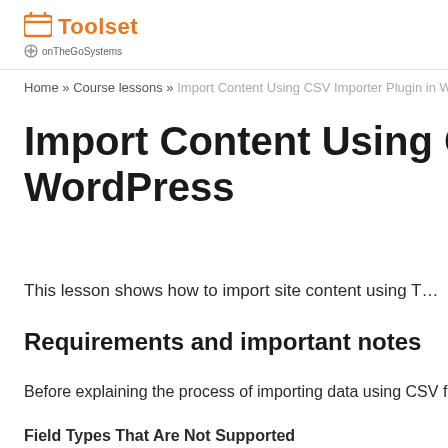Toolset by onTheGoSystems
Home » Course lessons » Import Content Using CSV Importer Plugin in WordPress
Import Content Using CSV Im… WordPress
This lesson shows how to import site content using T…
Requirements and important notes
Before explaining the process of importing data using CSV files, it…
Field Types That Are Not Supported